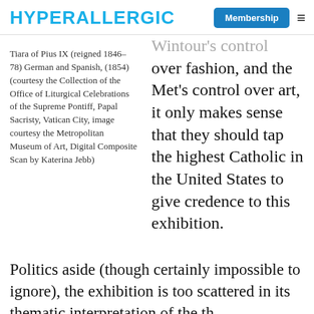HYPERALLERGIC
Tiara of Pius IX (reigned 1846–78) German and Spanish, (1854) (courtesy the Collection of the Office of Liturgical Celebrations of the Supreme Pontiff, Papal Sacristy, Vatican City, image courtesy the Metropolitan Museum of Art, Digital Composite Scan by Katerina Jebb)
Wintour's control over fashion, and the Met's control over art, it only makes sense that they should tap the highest Catholic in the United States to give credence to this exhibition.
Politics aside (though certainly impossible to ignore), the exhibition is too scattered in its thematic interpretation of the th…